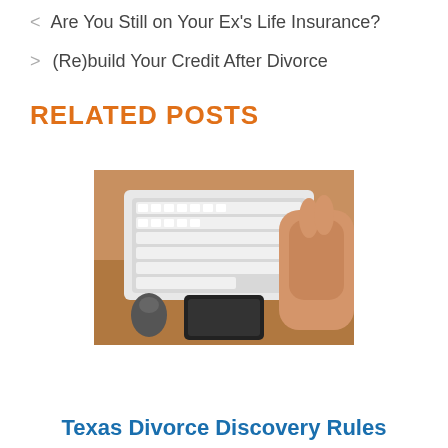< Are You Still on Your Ex's Life Insurance?
> (Re)build Your Credit After Divorce
RELATED POSTS
[Figure (photo): Person typing on a white keyboard with a smartphone on a wooden desk]
Texas Divorce Discovery Rules